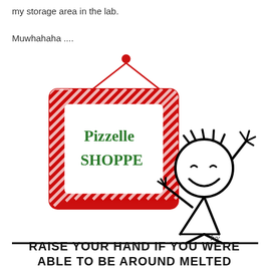my storage area in the lab.

Muwhahaha ....
[Figure (illustration): A stick figure cartoon character raising one hand in the air and holding a 'Pizzelle Shoppe' sign. The sign is square with a red and white striped border, green text reading 'Pizzelle Shoppe', hung by a string from a red dot. The stick figure is smiling with squinted eyes and has spiky hair. Artist signature 'Ivy' is visible.]
RAISE YOUR HAND IF YOU WERE ABLE TO BE AROUND MELTED